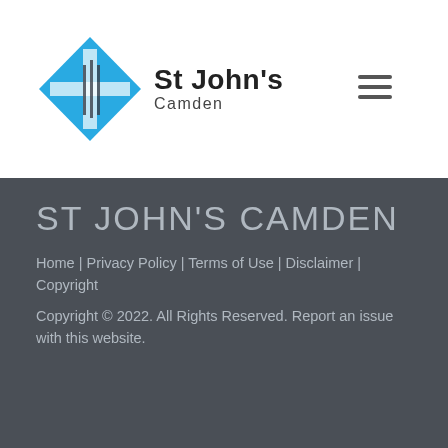[Figure (logo): St John's Camden church logo with blue diamond/cross shape and site name 'St John's Camden']
ST JOHN'S CAMDEN
Home | Privacy Policy | Terms of Use | Disclaimer | Copyright
Copyright © 2022. All Rights Reserved. Report an issue with this website.
[Figure (infographic): Facebook logo icon in blue with text 'LIKE US ON FACEBOOK!']